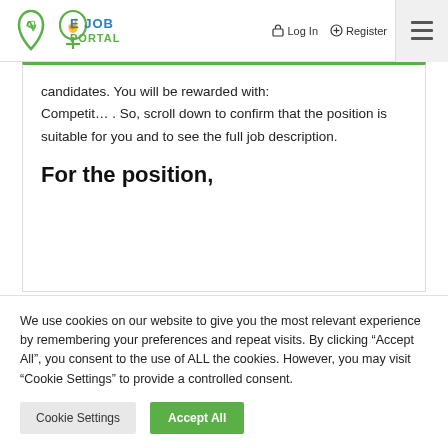E JOB PORTAL — Log In — Register
candidates. You will be rewarded with: Competit… . So, scroll down to confirm that the position is suitable for you and to see the full job description.
For the position,
We use cookies on our website to give you the most relevant experience by remembering your preferences and repeat visits. By clicking “Accept All”, you consent to the use of ALL the cookies. However, you may visit "Cookie Settings" to provide a controlled consent.
Cookie Settings | Accept All